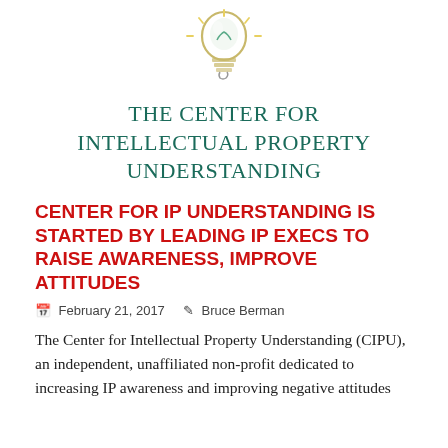[Figure (logo): Lightbulb logo icon for The Center for Intellectual Property Understanding]
THE CENTER FOR INTELLECTUAL PROPERTY UNDERSTANDING
CENTER FOR IP UNDERSTANDING IS STARTED BY LEADING IP EXECS TO RAISE AWARENESS, IMPROVE ATTITUDES
February 21, 2017   Bruce Berman
The Center for Intellectual Property Understanding (CIPU), an independent, unaffiliated non-profit dedicated to increasing IP awareness and improving negative attitudes